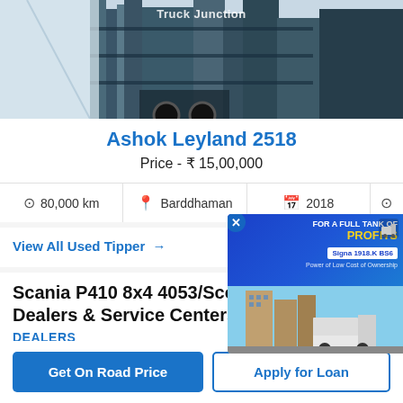[Figure (photo): Photo of Ashok Leyland 2518 truck with 'Truck Junction' watermark]
Ashok Leyland 2518
Price - ₹ 15,00,000
80,000 km   Barddhaman   2018
View All Used Tipper →
Scania P410 8x4 4053/Scoop Body Dealers & Service Centers
DEALERS
[Figure (illustration): Advertisement banner: FOR A FULL TANK OF PROFITS, Signa 1918.K BS6, truck image]
Get On Road Price
Apply for Loan